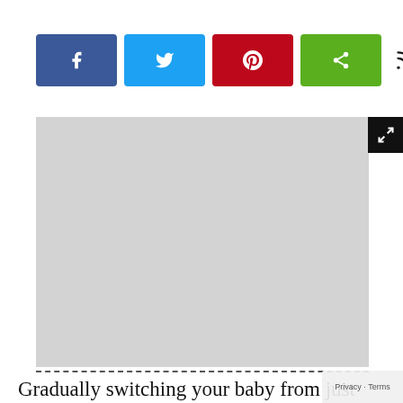[Figure (screenshot): Social media share buttons row: Facebook (blue), Twitter (blue), Pinterest (red), Share (green), RSS icon, Print icon]
[Figure (photo): Large placeholder image area (light gray rectangle) with expand/fullscreen button in top-right corner]
Gradually switching your baby from just breast milk